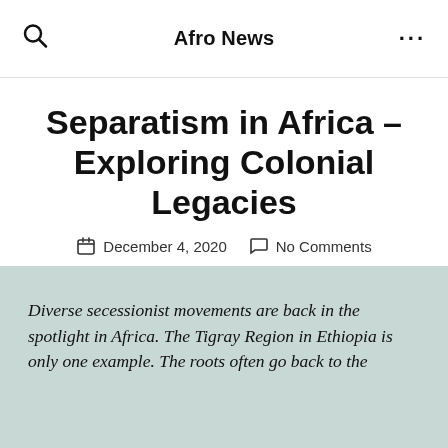Afro News
Separatism in Africa – Exploring Colonial Legacies
December 4, 2020   No Comments
Diverse secessionist movements are back in the spotlight in Africa. The Tigray Region in Ethiopia is only one example. The roots often go back to the